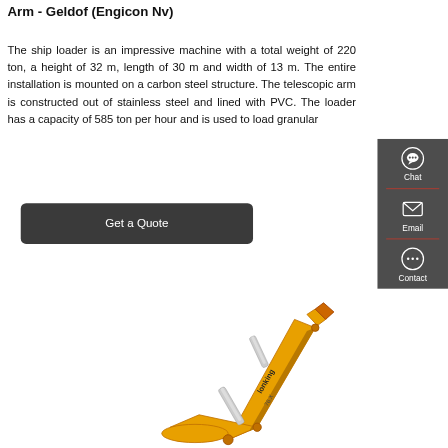Arm - Geldof (Engicon Nv)
The ship loader is an impressive machine with a total weight of 220 ton, a height of 32 m, length of 30 m and width of 13 m. The entire installation is mounted on a carbon steel structure. The telescopic arm is constructed out of stainless steel and lined with PVC. The loader has a capacity of 585 ton per hour and is used to load granular
[Figure (other): A dark rounded rectangle button labeled 'Get a Quote' in white text]
[Figure (photo): A yellow Lonking excavator arm/boom photographed against a white background]
[Figure (infographic): Dark grey sidebar with Chat (speech bubble icon), Email (envelope icon), and Contact (dots speech bubble icon) options separated by red dividers]